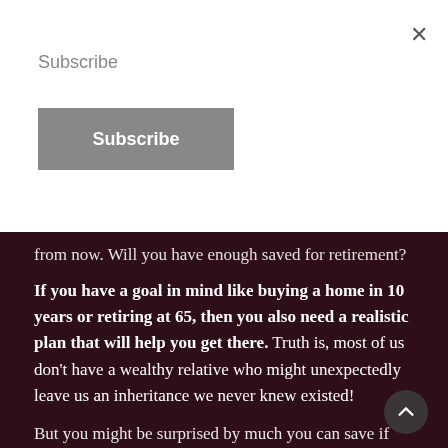Subscribe
Subscribe (button)
from now. Will you have enough saved for retirement?
If you have a goal in mind like buying a home in 10 years or retiring at 65, then you also need a realistic plan that will help you get there. Truth is, most of us don't have a wealthy relative who might unexpectedly leave us an inheritance we never knew existed!
But you might be surprised by much you can save if you put your mind to it. And you might want to do that… but how do you do that?